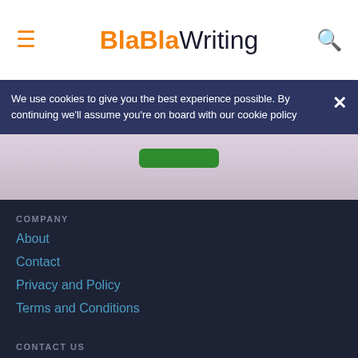BlaBlaWriting
We use cookies to give you the best experience possible. By continuing we'll assume you're on board with our cookie policy
[Figure (illustration): Hero image strip with green call-to-action button]
COMPANY
About
Contact
Privacy and Policy
Terms and Conditions
CONTACT US
info@blablawriting.com
Boosta INC OU